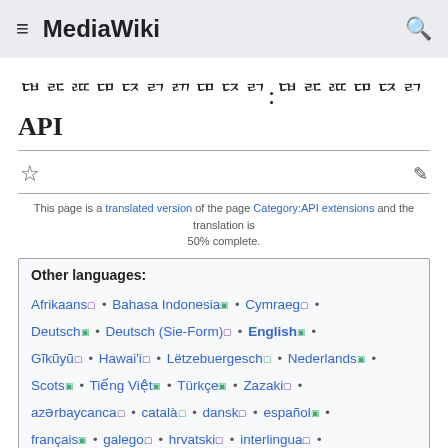MediaWiki
ꩡꩦꩧꩠꩣꩤ:ꩡꩦꩧꩠꩣꩤꩥ API
This page is a translated version of the page Category:API extensions and the translation is 50% complete.
Other languages:
Afrikaans • Bahasa Indonesia • Cymraeg • Deutsch • Deutsch (Sie-Form) • English • Gĩkũyũ • Hawai'i • Lëtzebuergesch • Nederlands • Scots • Tiếng Việt • Türkçe • Zazaki • azərbaycanca • català • dansk • español • français • galego • hrvatski • interlingua • italiano • lietuvių • magyar • norsk bokmål •